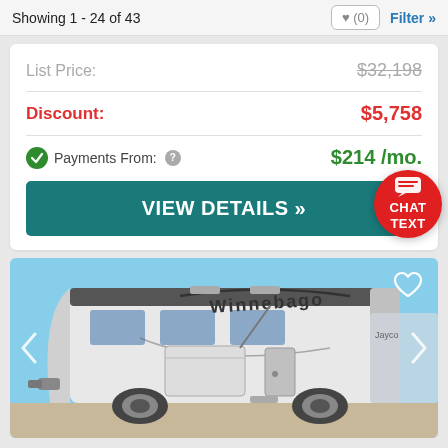Showing 1 - 24 of 43  ♥ (0)  Filter »
List Price: $32,198
Discount: $5,758
Payments From: $214 /mo.
VIEW DETAILS »
[Figure (screenshot): CHAT TEXT badge — red circular button with chat icon and text CHAT TEXT]
[Figure (photo): Photo of a Winnebago travel trailer / fifth-wheel RV parked outdoors against a blue sky, with navigation arrows and a heart/favorite icon overlay]